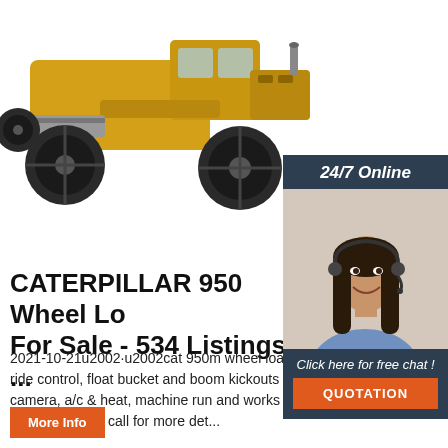[Figure (photo): Yellow Caterpillar 950 wheel loader / motor grader heavy equipment machine photographed from front-left angle on white background, showing large tires and blade]
[Figure (photo): 24/7 Online chat widget showing a smiling female customer service agent wearing a headset, with dark blue background panel, 'Click here for free chat!' text, and orange QUOTATION button]
CATERPILLAR 950 Wheel Loader For Sale - 534 Listings ...
2021-10-21u2002·u2002cat 950m wheel loader, 4.25 yd gp bucket, ride control, float bucket and boom kickouts all work, backup camera, a/c & heat, machine run and works well, machine has some idle time, call for more det...